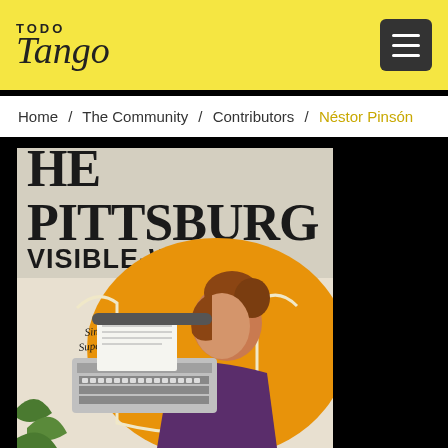TODO Tango
Home / The Community / Contributors / Néstor Pinsón
[Figure (illustration): Vintage advertisement poster for 'The Pittsburg Visible-Writing Machine' showing an Art Nouveau style woman with auburn hair in a purple dress typing at a typewriter. Text on poster reads 'Simplicity is Superiority!']